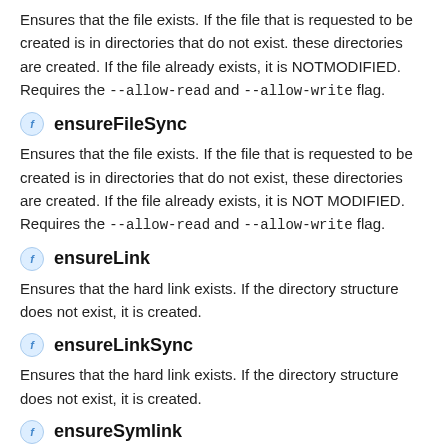Ensures that the file exists. If the file that is requested to be created is in directories that do not exist. these directories are created. If the file already exists, it is NOTMODIFIED. Requires the --allow-read and --allow-write flag.
ensureFileSync
Ensures that the file exists. If the file that is requested to be created is in directories that do not exist, these directories are created. If the file already exists, it is NOT MODIFIED. Requires the --allow-read and --allow-write flag.
ensureLink
Ensures that the hard link exists. If the directory structure does not exist, it is created.
ensureLinkSync
Ensures that the hard link exists. If the directory structure does not exist, it is created.
ensureSymlink